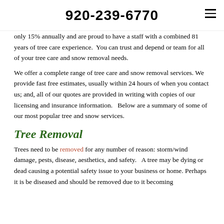920-239-6770
only 15% annually and are proud to have a staff with a combined 81 years of tree care experience.  You can trust and depend or team for all of your tree care and snow removal needs.
We offer a complete range of tree care and snow removal services. We provide fast free estimates, usually within 24 hours of when you contact us; and, all of our quotes are provided in writing with copies of our licensing and insurance information.   Below are a summary of some of our most popular tree and snow services.
Tree Removal
Trees need to be removed for any number of reason: storm/wind damage, pests, disease, aesthetics, and safety.   A tree may be dying or dead causing a potential safety issue to your business or home. Perhaps it is be diseased and should be removed due to it becoming